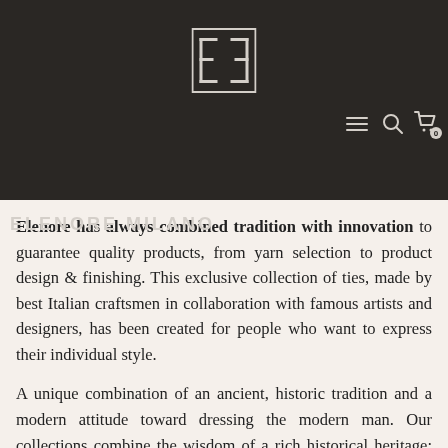ELENORE MILANO
the company reborn in Milan. It has since been the destination for elegant clothing made of fabrics for both men and women.
Elenore has always combined quality partnership with the best silk makers to guarantee the highest quality.
Elenore has always combined tradition with innovation to guarantee quality products, from yarn selection to product design & finishing. This exclusive collection of ties, made by best Italian craftsmen in collaboration with famous artists and designers, has been created for people who want to express their individual style.
A unique combination of an ancient, historic tradition and a modern attitude toward dressing the modern man. Our collections combine the wisdom of a rich historical heritage: precious fabrics, vibrant patterns,